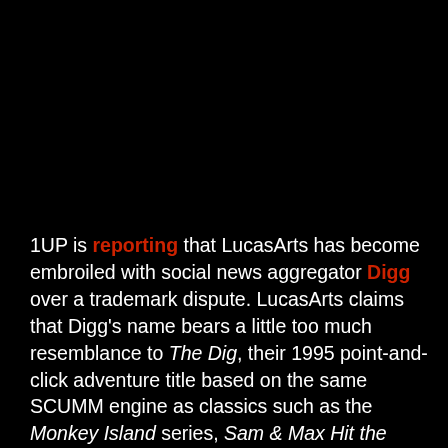1UP is reporting that LucasArts has become embroiled with social news aggregator Digg over a trademark dispute. LucasArts claims that Digg's name bears a little too much resemblance to The Dig, their 1995 point-and-click adventure title based on the same SCUMM engine as classics such as the Monkey Island series, Sam & Max Hit the Road, and Full Throttle. You guys remember The Dig,